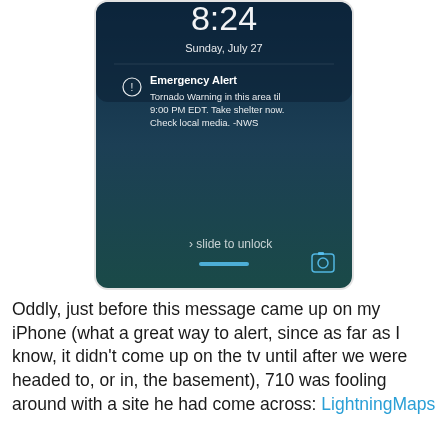[Figure (screenshot): iPhone lock screen screenshot showing an Emergency Alert notification. The screen displays time '8:24', date 'Sunday, July 27', an Emergency Alert icon with text: 'Tornado Warning in this area til 9:00 PM EDT. Take shelter now. Check local media. -NWS'. Bottom shows 'slide to unlock' and camera icon on a dark blue gradient background.]
Oddly, just before this message came up on my iPhone (what a great way to alert, since as far as I know, it didn't come up on the tv until after we were headed to, or in, the basement), 710 was fooling around with a site he had come across: LightningMaps